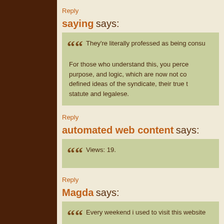Reply
saying says:
They're literally professed as being consul...
For those who understand this, you percei... purpose, and logic, which are now not con... defined ideas of the syndicate, their true th... statute and legalese.
Reply
automated web content says:
Views: 19.
Reply
Magda says:
Every weekend i used to visit this website...